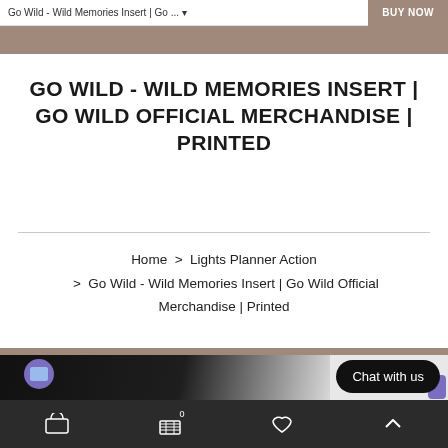Go Wild - Wild Memories Insert | Go ... BUY NOW
GO WILD - WILD MEMORIES INSERT | GO WILD OFFICIAL MERCHANDISE | PRINTED
Home > Lights Planner Action > Go Wild - Wild Memories Insert | Go Wild Official Merchandise | Printed
[Figure (photo): Product photo showing a black pouch/bag with a purple cartoon character badge on a white hexagonal tile background]
Chat with us